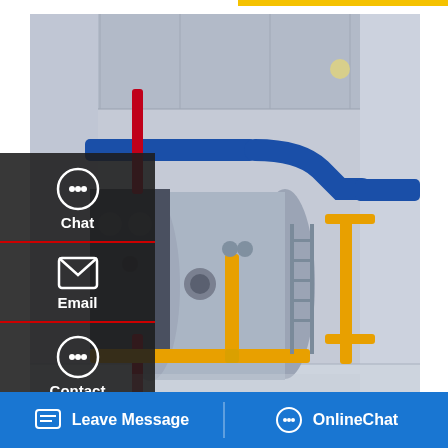[Figure (photo): Industrial boiler room with large cylindrical horizontal boiler tank, blue insulated piping, red vertical pipes, yellow gas piping on floor and walls, in a white-walled facility with concrete ceiling.]
Commercial 10 Ton Oil Boiler Machine Agent Kyrgyzstan
Commercial Belarus. 10 Ton Coal Belarus 2 Ton Biomass Coal Fired